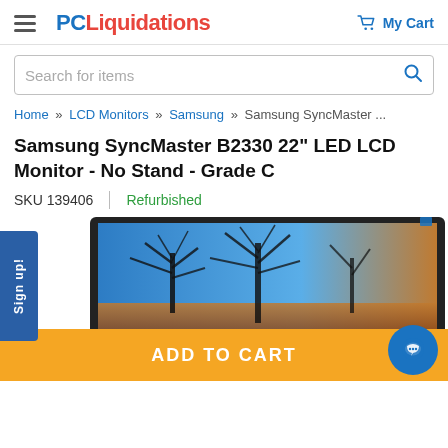PC Liquidations — My Cart
Search for items
Home » LCD Monitors » Samsung » Samsung SyncMaster ...
Samsung SyncMaster B2330 22" LED LCD Monitor - No Stand - Grade C
SKU 139406 | Refurbished
[Figure (photo): Samsung SyncMaster B2330 22 inch LED LCD monitor showing the screen displaying a nature scene with trees against a blue sky background, photographed at an angle. The monitor has a black bezel. No stand attached.]
Sign up!
ADD TO CART